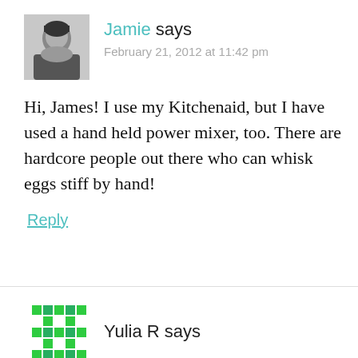[Figure (photo): Small black and white avatar photo of Jamie, a woman with dark hair]
Jamie says
February 21, 2012 at 11:42 pm
Hi, James! I use my Kitchenaid, but I have used a hand held power mixer, too. There are hardcore people out there who can whisk eggs stiff by hand!
Reply
[Figure (illustration): Green pixel/mosaic style avatar icon for Yulia R]
Yulia R says